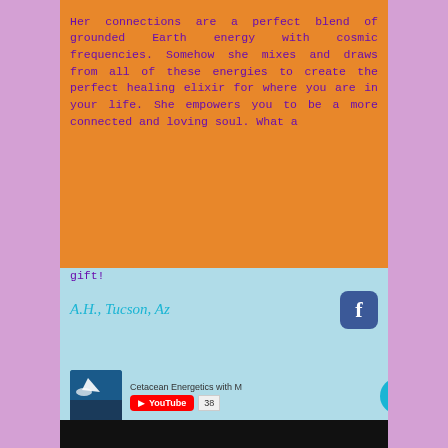Her connections are a perfect blend of grounded Earth energy with cosmic frequencies. Somehow she mixes and draws from all of these energies to create the perfect healing elixir for where you are in your life. She empowers you to be a more connected and loving soul. What a gift!
A.H., Tucson, Az
[Figure (screenshot): YouTube channel preview showing 'Cetacean Energetics with M' with a whale thumbnail image, YouTube subscribe button, and subscriber count of 38]